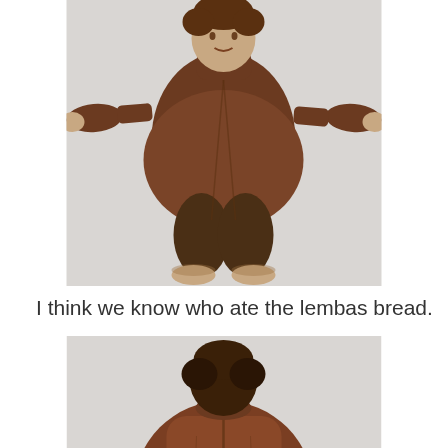[Figure (photo): Front view of a hobbit character in brown robes standing with arms outstretched to the sides, barefoot, set against a light grey background. The figure appears wider/rounder than expected.]
I think we know who ate the lembas bread.
[Figure (photo): Back view of the same hobbit character in brown robes standing with arms outstretched, barefoot, set against a light grey background. The figure is noticeably wide from behind.]
Don't we?
[Figure (photo): Front view of a different hobbit character in darker robes with a scarf, standing with arms outstretched, set against a light grey background. Partially visible, cropped at bottom.]